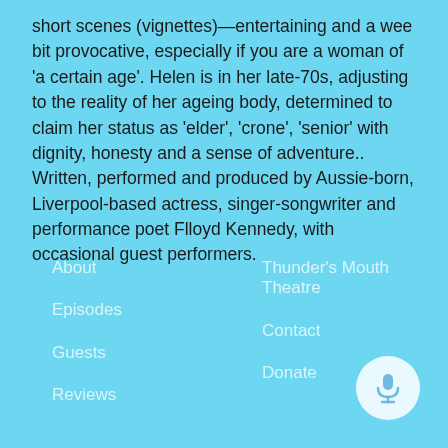short scenes (vignettes)—entertaining and a wee bit provocative, especially if you are a woman of 'a certain age'. Helen is in her late-70s, adjusting to the reality of her ageing body, determined to claim her status as 'elder', 'crone', 'senior' with dignity, honesty and a sense of adventure.. Written, performed and produced by Aussie-born, Liverpool-based actress, singer-songwriter and performance poet Flloyd Kennedy, with occasional guest performers.
About
Episodes
Guests
Reviews
Thunder's Mouth Theatre
Contact
Donate
[Figure (illustration): Circular button with white microphone icon on light background]